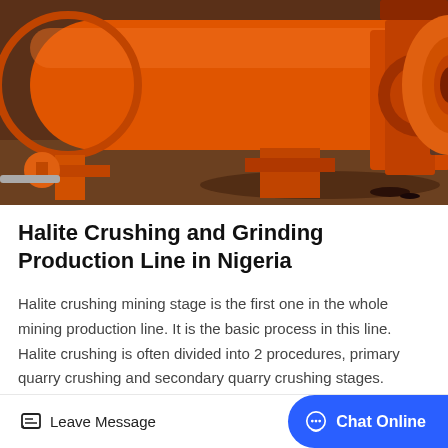[Figure (photo): Large orange industrial ball mill machine on a factory floor, with orange cylindrical drum and supporting frame structure]
Halite Crushing and Grinding Production Line in Nigeria
Halite crushing mining stage is the first one in the whole mining production line. It is the basic process in this line. Halite crushing is often divided into 2 procedures, primary quarry crushing and secondary quarry crushing stages. Sometimes, the secondary…